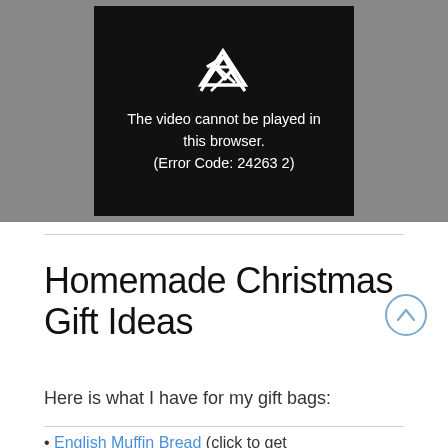[Figure (screenshot): Video player showing error message: 'The video cannot be played in this browser. (Error Code: 242632)']
Homemade Christmas Gift Ideas
Here is what I have for my gift bags:
English Muffin Bread (click to get